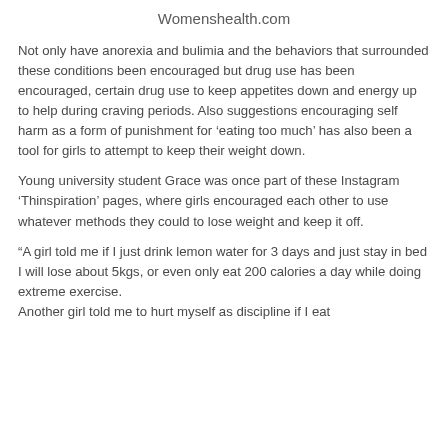Womenshealth.com
Not only have anorexia and bulimia and the behaviors that surrounded these conditions been encouraged but drug use has been encouraged, certain drug use to keep appetites down and energy up to help during craving periods. Also suggestions encouraging self harm as a form of punishment for ‘eating too much’ has also been a tool for girls to attempt to keep their weight down.
Young university student Grace was once part of these Instagram ‘Thinspiration’ pages, where girls encouraged each other to use whatever methods they could to lose weight and keep it off.
“A girl told me if I just drink lemon water for 3 days and just stay in bed I will lose about 5kgs, or even only eat 200 calories a day while doing extreme exercise. Another girl told me to hurt myself as discipline if I eat…